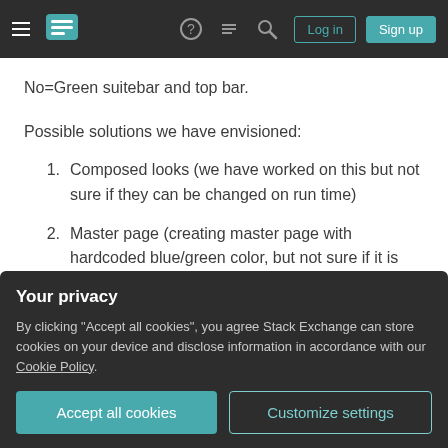Stack Exchange navigation bar with hamburger menu, logo, icons, Log in and Sign up buttons
No=Green suitebar and top bar.
Possible solutions we have envisioned:
1. Composed looks (we have worked on this but not sure if they can be changed on run time)
2. Master page (creating master page with hardcoded blue/green color, but not sure if it is possible to call master page at runtime)
I believe both above methods will fail as there will
Your privacy
By clicking "Accept all cookies", you agree Stack Exchange can store cookies on your device and disclose information in accordance with our Cookie Policy.
Accept all cookies   Customize settings
model to detect the list item (yes/no) value and